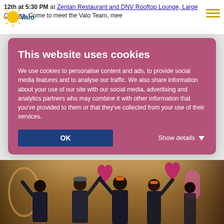12th at 5:30 PM at Zentan Restaurant and DNV Rooftop Lounge, Large Cabana. Come to meet the Valo Team, meet
[Figure (logo): Valo logo — circular sun icon with yellow rays and 'Valo' text in dark teal]
[Figure (other): Hamburger menu icon with three horizontal gold/yellow lines]
This website uses cookies

We use cookies to personalise content and ads, to provide social media features and to analyse our traffic. We also share information about your use of our site with our social media, advertising and analytics partners who may combine it with other information that you've provided to them or that they've collected from your use of their services.

OK    Show details
[Figure (photo): Group photo of the Valo team celebrating indoors, raising arms, holding pink heart-shaped balloons]